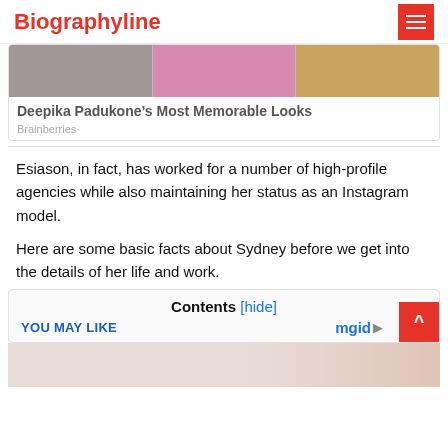Biographyline
[Figure (photo): Three-panel promo image for Deepika Padukone article]
Deepika Padukone’s Most Memorable Looks
Brainberries
Esiason, in fact, has worked for a number of high-profile agencies while also maintaining her status as an Instagram model.
Here are some basic facts about Sydney before we get into the details of her life and work.
Contents [hide]
YOU MAY LIKE
[Figure (photo): Advertisement/teaser image below the YOU MAY LIKE bar]